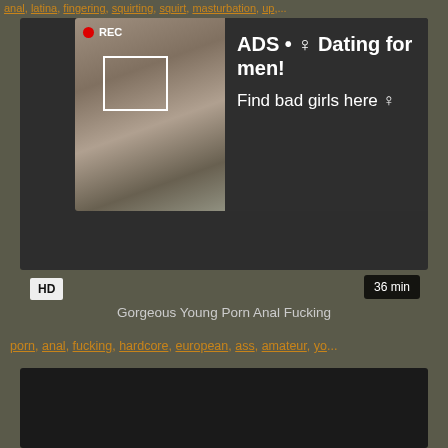anal, latina, fingering, squirting, squirt, masturbation, up,...
[Figure (screenshot): Video player with advertisement overlay showing dating ad with photo and text 'ADS • ♀ Dating for men! Find bad girls here ♀']
HD
36 min
Gorgeous Young Porn Anal Fucking
porn, anal, fucking, hardcore, european, ass, amateur, yo...
[Figure (screenshot): Black video player area at bottom of page]